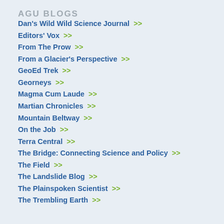AGU BLOGS
Dan's Wild Wild Science Journal >>
Editors' Vox >>
From The Prow >>
From a Glacier's Perspective >>
GeoEd Trek >>
Georneys >>
Magma Cum Laude >>
Martian Chronicles >>
Mountain Beltway >>
On the Job >>
Terra Central >>
The Bridge: Connecting Science and Policy >>
The Field >>
The Landslide Blog >>
The Plainspoken Scientist >>
The Trembling Earth >>